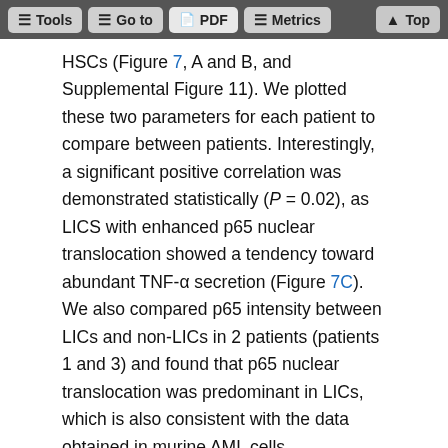Tools  Go to  PDF  Metrics  Top
HSCs (Figure 7, A and B, and Supplemental Figure 11). We plotted these two parameters for each patient to compare between patients. Interestingly, a significant positive correlation was demonstrated statistically (P = 0.02), as LICS with enhanced p65 nuclear translocation showed a tendency toward abundant TNF-α secretion (Figure 7C). We also compared p65 intensity between LICs and non-LICs in 2 patients (patients 1 and 3) and found that p65 nuclear translocation was predominant in LICs, which is also consistent with the data obtained in murine AML cells (Supplemental Figure 11). Moreover, we cultured LICs with or without neutralizing antibodies against TNF-α and assessed p65 nuclear translocation to determine the effect of autocrine TNF-α on NF-κB activity. When incubated in the presence of TNF-α neutralizing antibodies